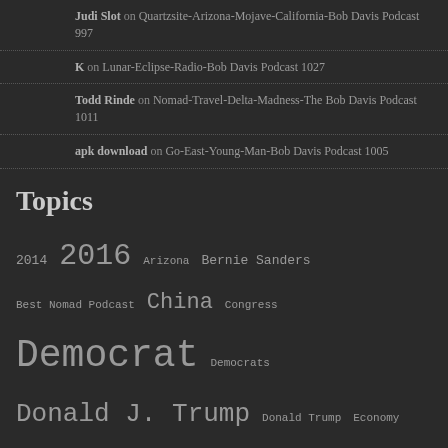Judi Slot on Quartzsite-Arizona-Mojave-California-Bob Davis Podcast 997
K on Lunar-Eclipse-Radio-Bob Davis Podcast 1027
Todd Rinde on Nomad-Travel-Delta-Madness-The Bob Davis Podcast 1011
apk download on Go-East-Young-Man-Bob Davis Podcast 1005
Topics
2014  2016  Arizona  Bernie Sanders  Best Nomad Podcast  China  Congress  Democrat  Democrats  Donald J. Trump  Donald Trump  Economy  FaceBook  Florida  Greg Ryan  Hillary Clinton  Iowa  ISIS  Media  Minnesota  Mobile Podcast Command  Mobile Podcast Command Unit 8